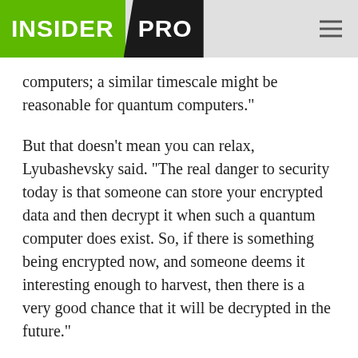INSIDER PRO
computers; a similar timescale might be reasonable for quantum computers."
But that doesn't mean you can relax, Lyubashevsky said. "The real danger to security today is that someone can store your encrypted data and then decrypt it when such a quantum computer does exist. So, if there is something being encrypted now, and someone deems it interesting enough to harvest, then there is a very good chance that it will be decrypted in the future."
Rodney Joffe, security CTO at Neustar, reminds